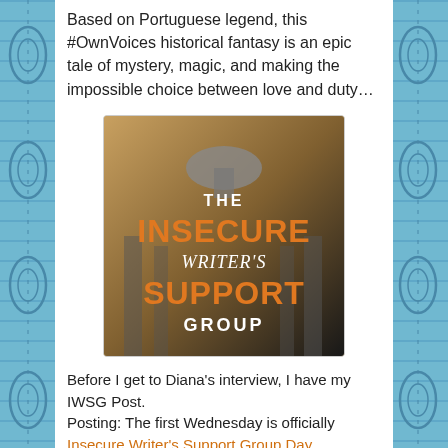Based on Portuguese legend, this #OwnVoices historical fantasy is an epic tale of mystery, magic, and making the impossible choice between love and duty…
[Figure (logo): The Insecure Writer's Support Group logo: orange and white text on a dark sepia/black background with architectural imagery. Text reads THE INSECURE WRITER'S SUPPORT GROUP.]
Before I get to Diana's interview, I have my IWSG Post.
Posting: The first Wednesday is officially Insecure Writer's Support Group Day.
Purpose: To share and encourage. Writers can express doubts and concerns without fear of